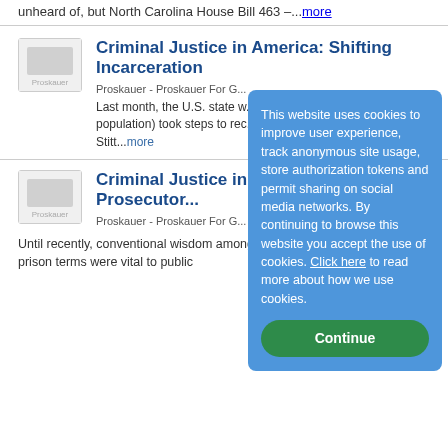unheard of, but North Carolina House Bill 463 –...more
[Figure (thumbnail): Proskauer article thumbnail image placeholder]
Criminal Justice in America: Shifting Incarceration
Proskauer - Proskauer For G...
Last month, the U.S. state w... incarceration (in the country... population) took steps to rec... violent offenders. Oklahoma... Stitt...more
This website uses cookies to improve user experience, track anonymous site usage, store authorization tokens and permit sharing on social media networks. By continuing to browse this website you accept the use of cookies. Click here to read more about how we use cookies.
[Figure (thumbnail): Proskauer article thumbnail image placeholder]
Criminal Justice in America: Rethin... the Prosecutor...
Proskauer - Proskauer For G...
Until recently, conventional wisdom among prosecutors dictated that long prison terms were vital to public